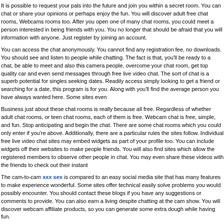It is possible to request your pals into the future and join you within a secret room. You can chat or share your opinions or perhaps enjoy the fun. You will discover adult free chat rooms, Webcams rooms too. After you open one of many chat rooms, you could meet a person interested in being friends with you. You no longer that should be afraid that you will information with anyone. Just register by joining an account.
You can access the chat anonymously. You cannot find any registration fee, no downloads. You should see and listen to people while chatting. The fact is that, you'll be ready to a chat, be able to meet and also this camera people, overcome your chat room, get top quality car and even send messages through free live video chat. The sort of chat is a superb potential for singles seeking dates. Readily access simply looking to get a friend or searching for a date, this program is for you. Along with you'll find the average person you have always wanted here. Some sites even
Business just about these chat rooms is really because all free. Regardless of whether adult chat rooms, or teen chat rooms, each of them is free. Webcam chat is free, simple, and fun. Stop anticipating and begin the chat. There are some chat rooms which you could only enter if you're above. Additionally, there are a particular rules the sites follow. Individual free live video chat sites may embed widgets as part of your profile too. You can include widgets off their websites to make people friends. You will also find sites which allow the registered members to observe other people in chat. You may even share these videos with the friends to check out their instant
The cam-to-cam xxx sex is compared to an easy social media site that has many features to make experience wonderful. Some sites offer technical easily solve problems you would possibly encounter. You should contact these blogs if you have any suggestions or comments to provide. You can also earn a living despite chatting at the cam show. You will discover webcam affiliate products, so you can generate some extra dough while having fun.
Cool Friends is a post from: http://freelivexxxxsex.org